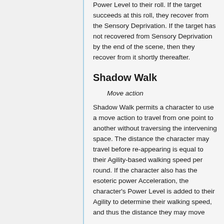Power Level to their roll. If the target succeeds at this roll, they recover from the Sensory Deprivation. If the target has not recovered from Sensory Deprivation by the end of the scene, then they recover from it shortly thereafter.
Shadow Walk
Move action
Shadow Walk permits a character to use a move action to travel from one point to another without traversing the intervening space. The distance the character may travel before re-appearing is equal to their Agility-based walking speed per round. If the character also has the esoteric power Acceleration, the character's Power Level is added to their Agility to determine their walking speed, and thus the distance they may move